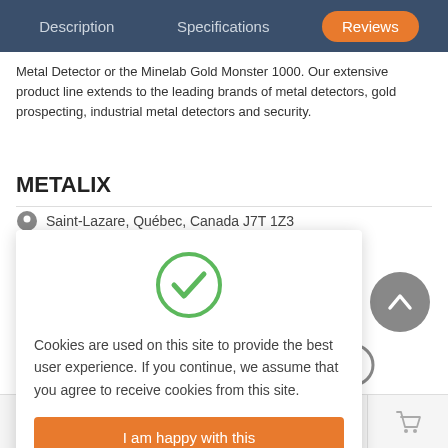Description | Specifications | Reviews
Metal Detector or the Minelab Gold Monster 1000. Our extensive product line extends to the leading brands of metal detectors, gold prospecting, industrial metal detectors and security.
METALIX
Saint-Lazare, Québec, Canada J7T 1Z3
Cookies are used on this site to provide the best user experience. If you continue, we assume that you agree to receive cookies from this site.
I am happy with this